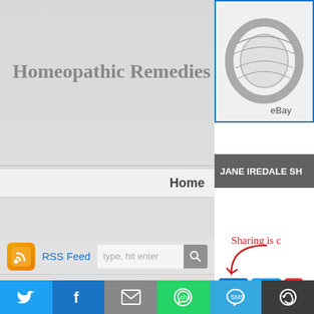Homeopathic Remedies
Home
[Figure (screenshot): RSS feed icon (orange with radio waves)]
RSS Feed
type, hit enter
[Figure (screenshot): eBay product image showing a ring with decorative pattern, partially visible]
JANE IREDALE SH
Sharing is c
[Figure (screenshot): Social share buttons: Facebook (blue f), Twitter (blue bird), and a red button, with a red arrow curve pointing to them]
Recent Comments
Log in
[Figure (screenshot): Bottom share bar with colored buttons: Twitter (cyan), Facebook (blue f), Email (grey envelope), WhatsApp (green), SMS (blue), More (dark circle arrows)]